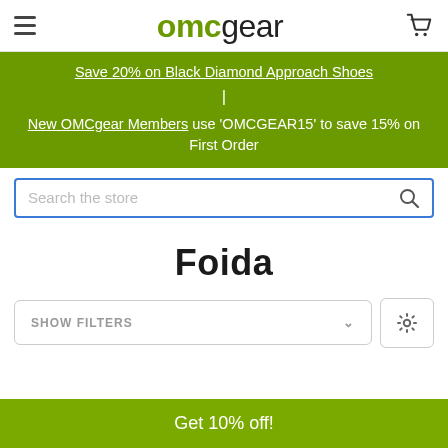omcgear
Save 20% on Black Diamond Approach Shoes | New OMCgear Members use 'OMCGEAR15' to save 15% on First Order
Search the store
Foida
SHOW FILTERS
Get 10% off!